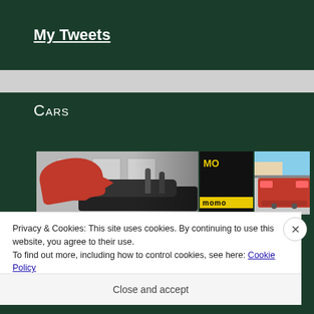My Tweets
Cars
[Figure (photo): Three car photos side by side: a red car with hood open in a garage/track setting, a dark background with MOMO branding in yellow, and a red Ferrari from the rear in a parking lot.]
Privacy & Cookies: This site uses cookies. By continuing to use this website, you agree to their use.
To find out more, including how to control cookies, see here: Cookie Policy
Close and accept